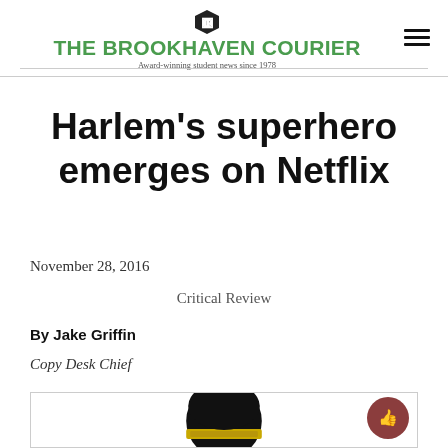THE BROOKHAVEN COURIER — Award-winning student news since 1978
Harlem's superhero emerges on Netflix
November 28, 2016
Critical Review
By Jake Griffin
Copy Desk Chief
[Figure (illustration): Illustration of a superhero character at the bottom of the page]